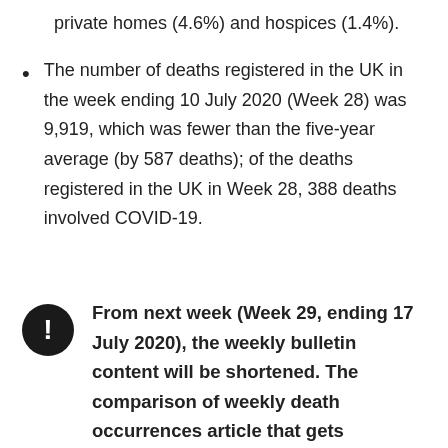private homes (4.6%) and hospices (1.4%).
The number of deaths registered in the UK in the week ending 10 July 2020 (Week 28) was 9,919, which was fewer than the five-year average (by 587 deaths); of the deaths registered in the UK in Week 28, 388 deaths involved COVID-19.
From next week (Week 29, ending 17 July 2020), the weekly bulletin content will be shortened. The comparison of weekly death occurrences article that gets published alongside the weekly bulletin will also no longer be produced, however, a small section